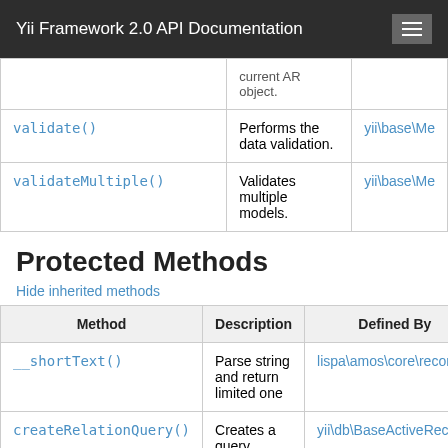Yii Framework 2.0 API Documentation
| Method | Description | Defined By |
| --- | --- | --- |
| validate() | Performs the data validation. | yii\base\Me |
| validateMultiple() | Validates multiple models. | yii\base\Me |
Protected Methods
Hide inherited methods
| Method | Description | Defined By |
| --- | --- | --- |
| __shortText() | Parse string and return limited one | lispa\amos\core\record\R |
| createRelationQuery() | Creates a query instance for | yii\db\BaseActiveRecord |